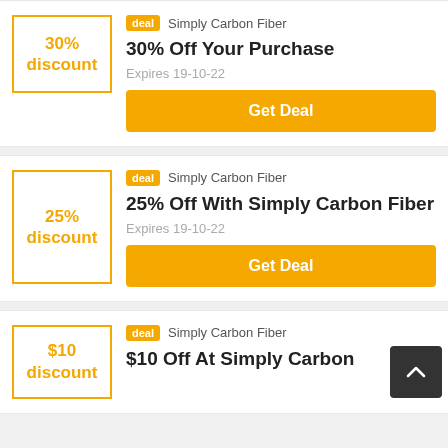[Figure (other): Deal card with 30% discount badge in yellow-bordered box]
30% discount
deal  Simply Carbon Fiber
30% Off Your Purchase
Expires 19-10-22
Get Deal
[Figure (other): Deal card with 25% discount badge in yellow-bordered box]
25% discount
deal  Simply Carbon Fiber
25% Off With Simply Carbon Fiber
Expires 19-10-22
Get Deal
[Figure (other): Deal card with $10 discount badge in yellow-bordered box]
$10 discount
deal  Simply Carbon Fiber
$10 Off At Simply Carbon